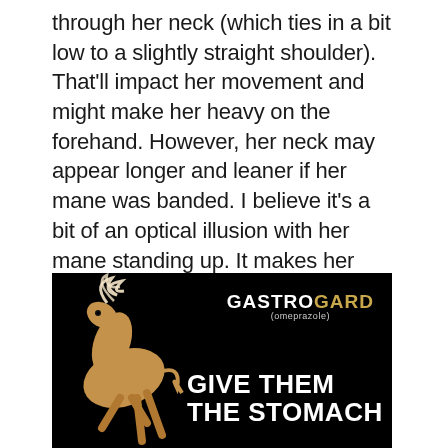through her neck (which ties in a bit low to a slightly straight shoulder). That'll impact her movement and might make her heavy on the forehand. However, her neck may appear longer and leaner if her mane was banded. I believe it's a bit of an optical illusion with her mane standing up. It makes her neck appear much thicker than it is. She's very functionally sound, however. While difficult to evaluate from this photo, I would venture to say she is the most expressively muscled as well.
[Figure (photo): GastroGard advertisement showing a horse rearing against a black background. Text reads 'GASTROGARD (omeprazole)' and 'GIVE THEM THE STOMACH']